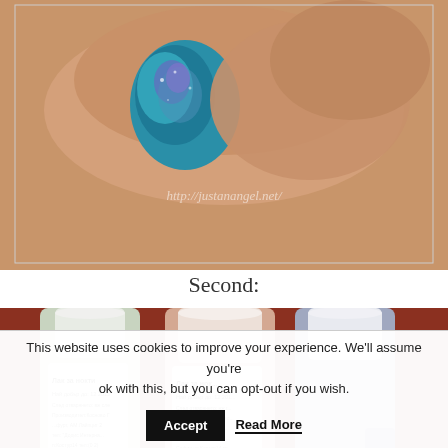[Figure (photo): Close-up photo of a finger with a shimmery teal/purple nail polish, with watermark text 'http://justanangel.net/']
Second:
[Figure (photo): Photo of three nail polish bottles standing upright showing their caps and Cyrillic text labels reading 'Лак за нокти' (nail polish) with expiry dates and producer information]
This website uses cookies to improve your experience. We'll assume you're ok with this, but you can opt-out if you wish.
Accept
Read More